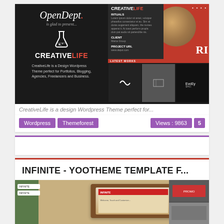[Figure (screenshot): CreativeLife WordPress theme preview showing two screenshots: left side dark background with OpenDept logo and CreativeLife branding, right side showing the theme interface with red accents and a coffee cup image]
CreativeLife is a design Wordpress Theme perfect for...
Wordpress
Themeforest
Views : 9863
5
INFINITE - YOOTHEME TEMPLATE F...
[Figure (screenshot): Preview of Infinite YooTheme template showing a website with wood texture and tablet mockup]